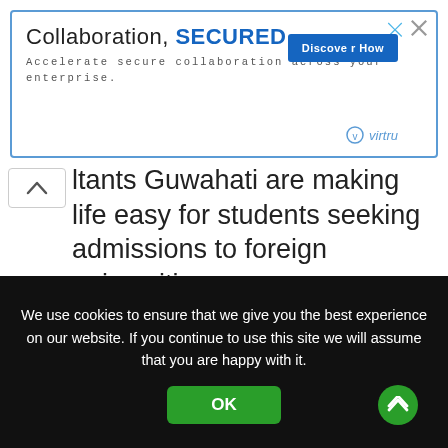[Figure (screenshot): Advertisement banner for Virtru: 'Collaboration, SECURED.' with 'Accelerate secure collaboration across your enterprise.' text, a 'Discover How' button, and Virtru logo]
ltants Guwahati are making life easy for students seeking admissions to foreign universities.
We use cookies to ensure that we give you the best experience on our website. If you continue to use this site we will assume that you are happy with it.
OK